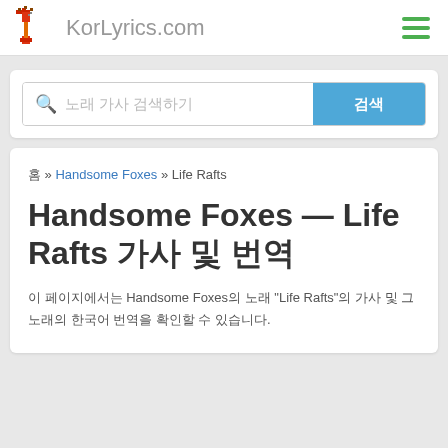KorLyrics.com
노래 가사 검색하기   검색
홈 » Handsome Foxes » Life Rafts
Handsome Foxes — Life Rafts 가사 및 번역
이 페이지에서는 Handsome Foxes의 노래 "Life Rafts"의 가사 및 그 노래의 한국어 번역을 확인할 수 있습니다.